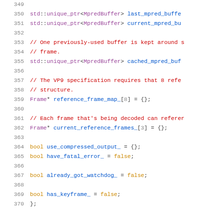Code listing lines 349-370, C++ source code showing VP9 decoder frame buffer declarations
349 (empty line)
350   std::unique_ptr<MpredBuffer> last_mpred_buffe
351   std::unique_ptr<MpredBuffer> current_mpred_bu
352 (empty line)
353   // One previously-used buffer is kept around s
354   // frame.
355   std::unique_ptr<MpredBuffer> cached_mpred_buf
356 (empty line)
357   // The VP9 specification requires that 8 refe
358   // structure.
359   Frame* reference_frame_map_[8] = {};
360 (empty line)
361   // Each frame that's being decoded can referer
362   Frame* current_reference_frames_[3] = {};
363 (empty line)
364   bool use_compressed_output_ = {};
365   bool have_fatal_error_ = false;
366 (empty line)
367   bool already_got_watchdog_ = false;
368 (empty line)
369   bool has_keyframe_ = false;
370 };